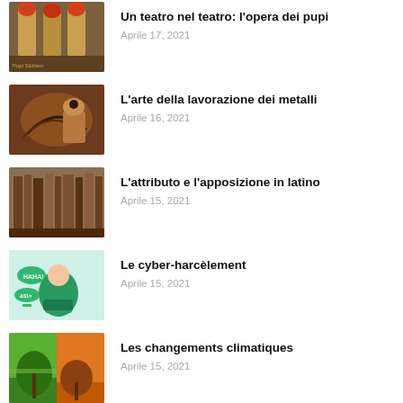[Figure (photo): Traditional puppet warrior figures in ornate armor]
Un teatro nel teatro: l'opera dei pupi
Aprile 17, 2021
[Figure (photo): Close-up of hands working on metal engraving or leather craft]
L'arte della lavorazione dei metalli
Aprile 16, 2021
[Figure (photo): Row of old ancient books on a shelf]
L'attributo e l'apposizione in latino
Aprile 15, 2021
[Figure (illustration): Cartoon illustration of cyber-bullying with speech bubbles and a girl at a laptop]
Le cyber-harcèlement
Aprile 15, 2021
[Figure (photo): Split image of a green tree on the left and a dead tree on dry land on the right, representing climate change]
Les changements climatiques
Aprile 15, 2021